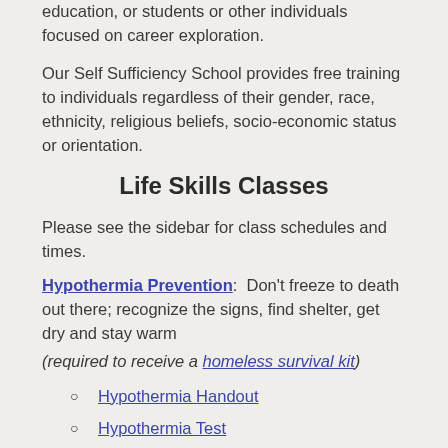education, or students or other individuals focused on career exploration.
Our Self Sufficiency School provides free training to individuals regardless of their gender, race, ethnicity, religious beliefs, socio-economic status or orientation.
Life Skills Classes
Please see the sidebar for class schedules and times.
Hypothermia Prevention: Don't freeze to death out there; recognize the signs, find shelter, get dry and stay warm
(required to receive a homeless survival kit)
Hypothermia Handout
Hypothermia Test
How To Use Your Survival Kit: What equipment is